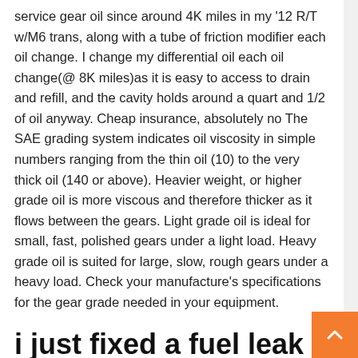service gear oil since around 4K miles in my '12 R/T w/M6 trans, along with a tube of friction modifier each oil change. I change my differential oil each oil change(@ 8K miles)as it is easy to access to drain and refill, and the cavity holds around a quart and 1/2 of oil anyway. Cheap insurance, absolutely no The SAE grading system indicates oil viscosity in simple numbers ranging from the thin oil (10) to the very thick oil (140 or above). Heavier weight, or higher grade oil is more viscous and therefore thicker as it flows between the gears. Light grade oil is ideal for small, fast, polished gears under a light load. Heavy grade oil is suited for large, slow, rough gears under a heavy load. Check your manufacture's specifications for the gear grade needed in your equipment.
i just fixed a fuel leak earlier this morning and was checkin all the lines about for the leak, w h...